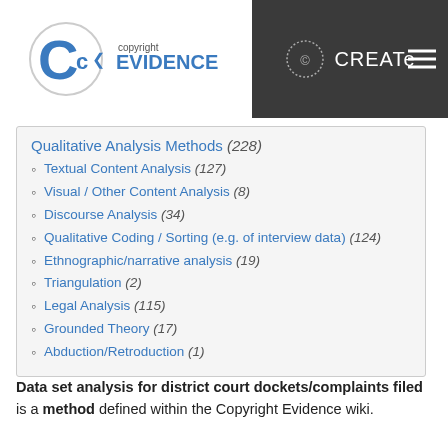Copyright EVIDENCE | CREATe
Qualitative Analysis Methods (228)
Textual Content Analysis (127)
Visual / Other Content Analysis (8)
Discourse Analysis (34)
Qualitative Coding / Sorting (e.g. of interview data) (124)
Ethnographic/narrative analysis (19)
Triangulation (2)
Legal Analysis (115)
Grounded Theory (17)
Abduction/Retroduction (1)
Data set analysis for district court dockets/complaints filed is a method defined within the Copyright Evidence wiki.